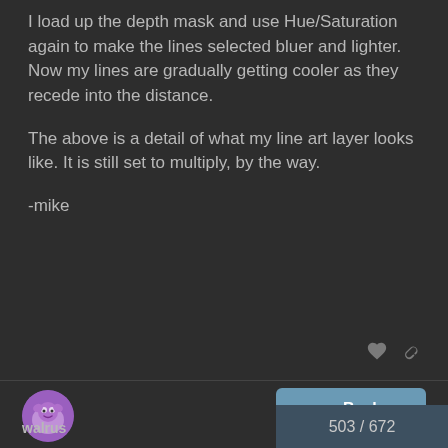I load up the depth mask and use Hue/Saturation again to make the lines selected bluer and lighter. Now my lines are gradually getting cooler as they recede into the distance.
The above is a detail of what my line art layer looks like. It is still set to multiply, by the way.
-mike
[Figure (illustration): User avatar for walrus - a purple circular avatar with a cartoon creature]
walrus
Back
503 / 672